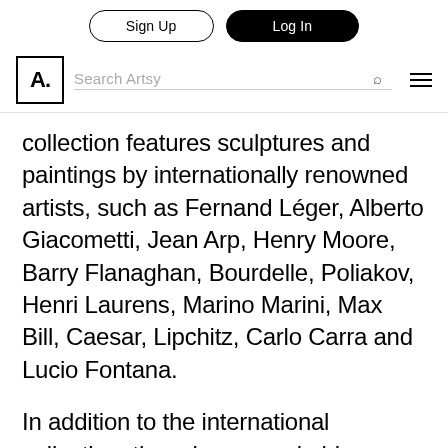Sign Up | Log In
Search Artsy
collection features sculptures and paintings by internationally renowned artists, such as Fernand Léger, Alberto Giacometti, Jean Arp, Henry Moore, Barry Flanaghan, Bourdelle, Poliakov, Henri Laurens, Marino Marini, Max Bill, Caesar, Lipchitz, Carlo Carra and Lucio Fontana.
In addition to the international collection, there is a remarkable group of Latin Americans artists, among them Joaquin